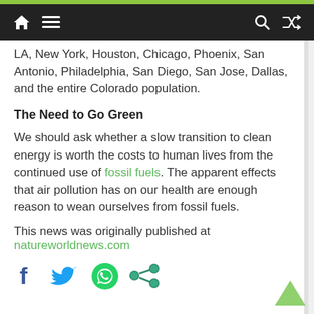Navigation bar with home, menu, search, and shuffle icons
LA, New York, Houston, Chicago, Phoenix, San Antonio, Philadelphia, San Diego, San Jose, Dallas, and the entire Colorado population.
The Need to Go Green
We should ask whether a slow transition to clean energy is worth the costs to human lives from the continued use of fossil fuels. The apparent effects that air pollution has on our health are enough reason to wean ourselves from fossil fuels.
This news was originally published at natureworldnews.com
[Figure (infographic): Social media sharing icons: Facebook (dark blue f), Twitter (light blue bird), WhatsApp (green phone in bubble), Share (teal/green dots network)]